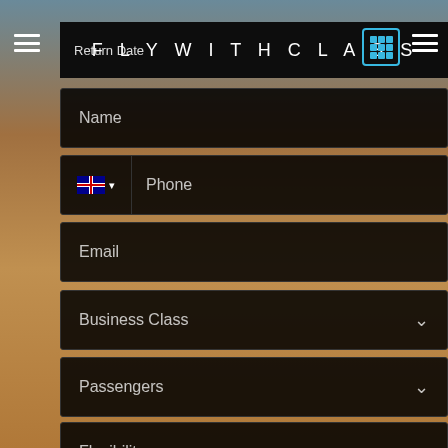FLY WITH CLASS
Return Date
Name
Phone
Email
Business Class
Passengers
Flexibility